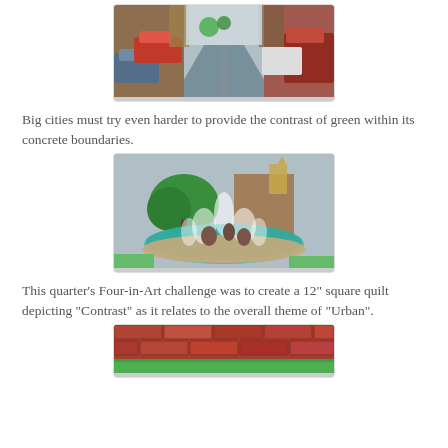[Figure (photo): Street-level view of a small-town main street with parked cars on both sides, brick buildings, and trees in the background.]
Big cities must try even harder to provide the contrast of green within its concrete boundaries.
[Figure (photo): Ornate fountain with bronze sculptures and water jets in a city plaza, with a large green tree, buildings including a church/clock tower, and cloudy sky in the background.]
This quarter's Four-in-Art challenge was to create a 12" square quilt depicting "Contrast" as it relates to the overall theme of "Urban".
[Figure (photo): Partial view of a quilt featuring brick-like pattern in red/brown tones with a green strip near the bottom.]